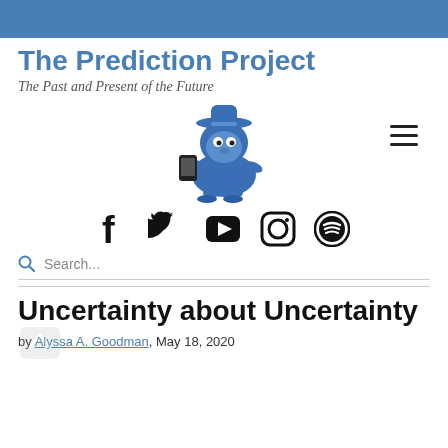The Prediction Project
The Past and Present of the Future
[Figure (illustration): Blue cartoon gnome/troll mascot character sitting and looking at a smartphone]
[Figure (infographic): Social media icons: Facebook, Twitter, YouTube, Instagram, Spotify]
Search...
Uncertainty about Uncertainty
by Alyssa A. Goodman, May 18, 2020